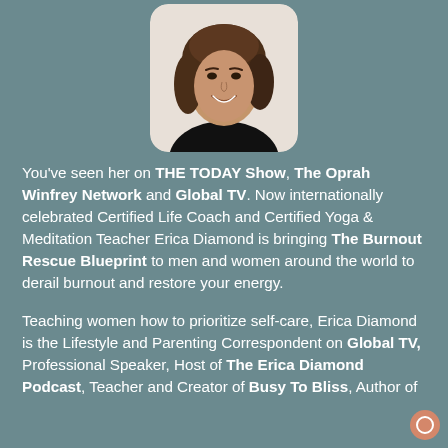[Figure (photo): Headshot of Erica Diamond, a woman with long brown hair wearing a black top, smiling, photo has rounded rectangle crop on a teal/slate background]
You've seen her on THE TODAY Show, The Oprah Winfrey Network and Global TV. Now internationally celebrated Certified Life Coach and Certified Yoga & Meditation Teacher Erica Diamond is bringing The Burnout Rescue Blueprint to men and women around the world to derail burnout and restore your energy.
Teaching women how to prioritize self-care, Erica Diamond is the Lifestyle and Parenting Correspondent on Global TV, Professional Speaker, Host of The Erica Diamond Podcast, Teacher and Creator of Busy To Bliss, Author of List Your Goals Journal and the...